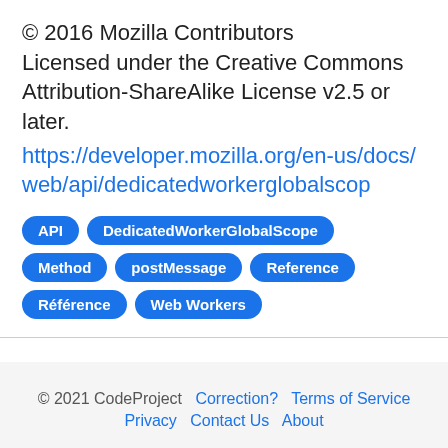© 2016 Mozilla Contributors Licensed under the Creative Commons Attribution-ShareAlike License v2.5 or later.
https://developer.mozilla.org/en-us/docs/web/api/dedicatedworkerglobalscop
API
DedicatedWorkerGlobalScope
Method
postMessage
Reference
Référence
Web Workers
© 2021 CodeProject  Correction?  Terms of Service  Privacy  Contact Us  About